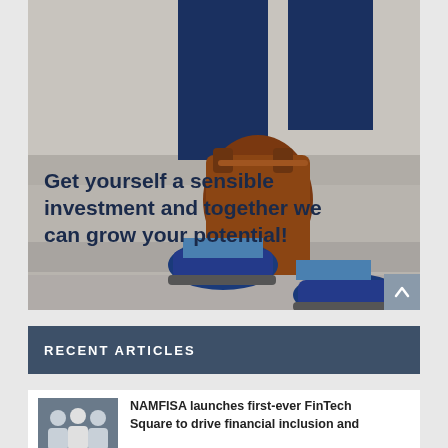[Figure (photo): Photo of a person in blue suit and blue shoes carrying a brown leather bag, walking up stone steps. Text overlay reads: 'Get yourself a sensible investment and together we can grow your potential!']
Get yourself a sensible investment and together we can grow your potential!
RECENT ARTICLES
NAMFISA launches first-ever FinTech Square to drive financial inclusion and